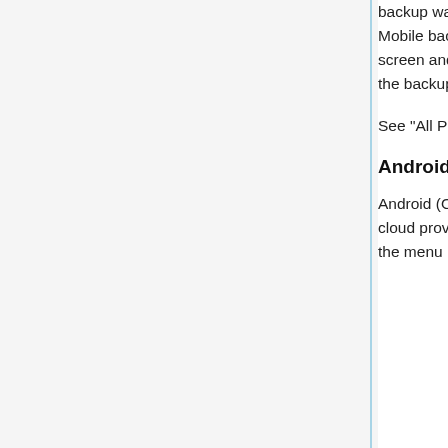backup was saved to iCloud, go to Apple's Files App then go to iCloud, locate the UD Mobile backup, then long press and select Copy (or Move), then back out to the "Browse" screen and select "On My Phone", then paste the backup file into your iPhone local storage, the backup should now be available for restoration.
See "All Platforms" below for more information.
Android Restore
Android (Only Google's variant tested) will allow backup and restore from local storage and cloud providers such as Google Drive. Android cloud providers can be accessed by clicking the menu in the System File picker, the System file picker should show registered cloud